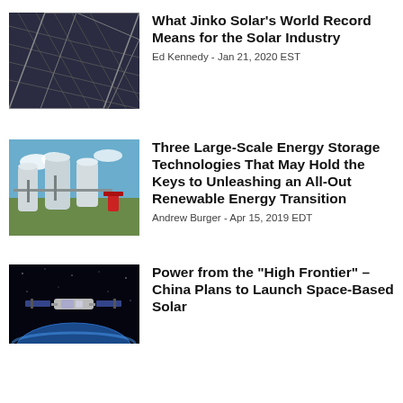[Figure (photo): Close-up of solar panels with metallic grid lines on dark blue background]
What Jinko Solar’s World Record Means for the Solar Industry
Ed Kennedy - Jan 21, 2020 EST
[Figure (photo): Industrial energy storage facility with large white cylindrical tanks and metal structures]
Three Large-Scale Energy Storage Technologies That May Hold the Keys to Unleashing an All-Out Renewable Energy Transition
Andrew Burger - Apr 15, 2019 EDT
[Figure (photo): Space station orbiting Earth against black space background]
Power from the “High Frontier” – China Plans to Launch Space-Based Solar